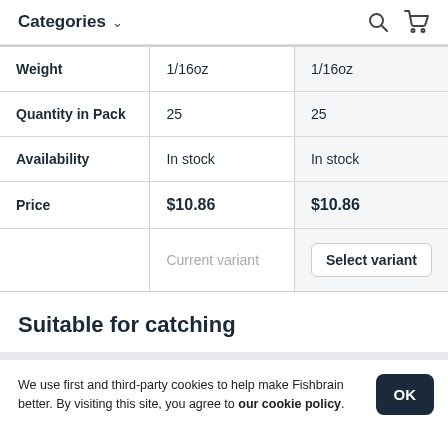Categories
|  | Col1 | Col2 |
| --- | --- | --- |
| Weight | 1/16oz | 1/16oz |
| Quantity in Pack | 25 | 25 |
| Availability | In stock | In stock |
| Price | $10.86 | $10.86 |
|  | Current variant | Select variant |
Suitable for catching
We use first and third-party cookies to help make Fishbrain better. By visiting this site, you agree to our cookie policy.